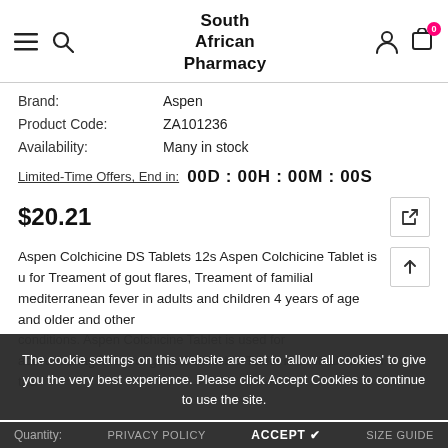South African Pharmacy
Brand: Aspen
Product Code: ZA101236
Availability: Many in stock
Limited-Time Offers, End in: 00D : 00H : 00M : 00S
$20.21
Aspen Colchicine DS Tablets 12s Aspen Colchicine Tablet is u for Treament of gout flares, Treament of familial mediterranean fever in adults and children 4 years of age and older and other conditions. Aspen Colchicine Tablet is used for active management of gout. Colchicine Tablet is best taken with the
The cookie settings on this website are set to 'allow all cookies' to give you the very best experience. Please click Accept Cookies to continue to use the site.
Quantity:    PRIVACY POLICY    ACCEPT ✔    SIZE GUIDE